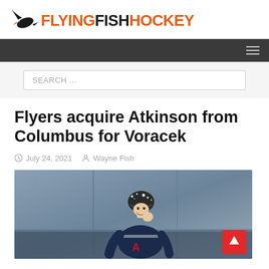FLYINGFISHHOCKEY
SEARCH ...
Flyers acquire Atkinson from Columbus for Voracek
July 24, 2021   Wayne Fish
[Figure (photo): Hockey player wearing dark blue Columbus Blue Jackets jersey with 'A' captain patch, smiling, wearing helmet with snow/ice on it, blurred arena background]